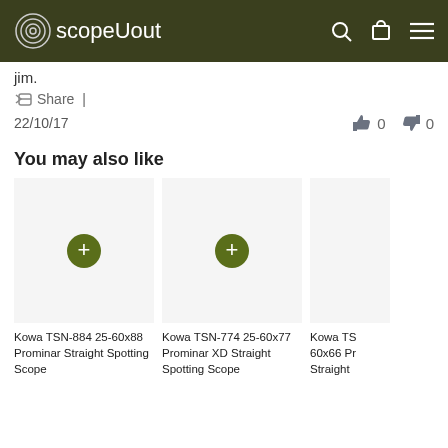scopeUout
jim.
Share |
22/10/17   👍 0   👎 0
You may also like
Kowa TSN-884 25-60x88 Prominar Straight Spotting Scope
Kowa TSN-774 25-60x77 Prominar XD Straight Spotting Scope
Kowa TSN- 60x66 Pr... Straight